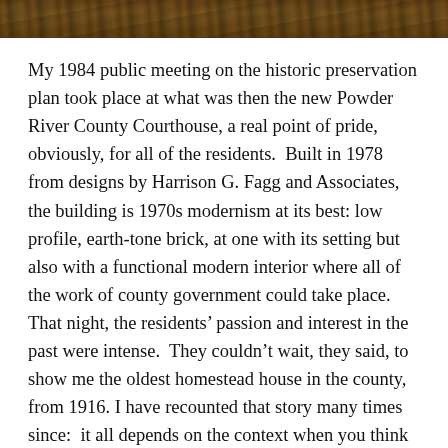[Figure (photo): Partial photo strip at the top of the page showing an outdoor scene with earth tones, foliage, and natural textures.]
My 1984 public meeting on the historic preservation plan took place at what was then the new Powder River County Courthouse, a real point of pride, obviously, for all of the residents.  Built in 1978 from designs by Harrison G. Fagg and Associates, the building is 1970s modernism at its best: low profile, earth-tone brick, at one with its setting but also with a functional modern interior where all of the work of county government could take place.  That night, the residents’ passion and interest in the past were intense.  They couldn’t wait, they said, to show me the oldest homestead house in the county, from 1916. I have recounted that story many times since:  it all depends on the context when you think of how “old” a property may be.  In the Powder River County context, it made sense: the county itself wasn’t formed until 1919.